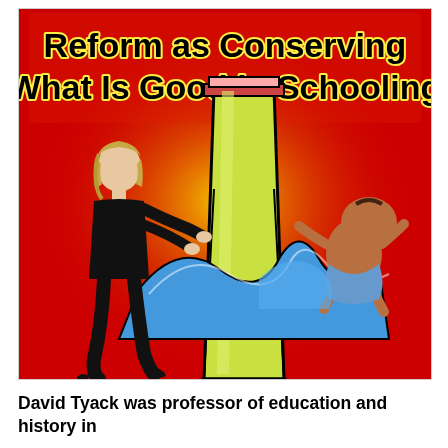[Figure (illustration): Book cover with red background showing a cartoon illustration: a woman in black pushing a giant yellow crayon/pencil, with a baby being swept away by a blue wave. Title text reads 'Reform as Conserving What Is Good in Schooling' in bold black text with yellow glow on red background.]
David Tyack was professor of education and history in